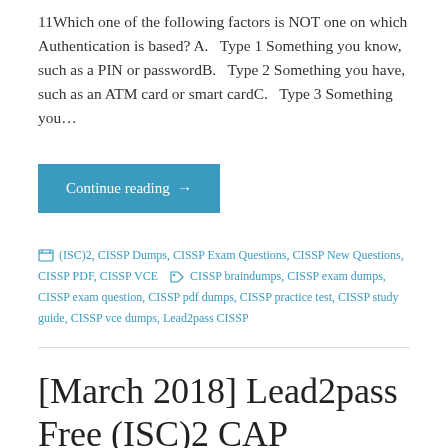11Which one of the following factors is NOT one on which Authentication is based? A.  Type 1 Something you know, such as a PIN or passwordB.  Type 2 Something you have, such as an ATM card or smart cardC.  Type 3 Something you…
Continue reading →
(ISC)2, CISSP Dumps, CISSP Exam Questions, CISSP New Questions, CISSP PDF, CISSP VCE  CISSP braindumps, CISSP exam dumps, CISSP exam question, CISSP pdf dumps, CISSP practice test, CISSP study guide, CISSP vce dumps, Lead2pass CISSP
[March 2018] Lead2pass Free (ISC)2 CAP Braindumps VCE Download 407...